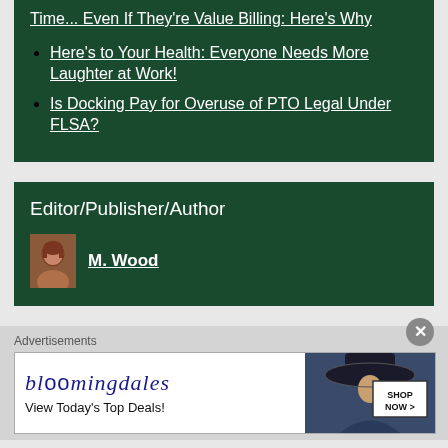Time... Even If They're Value Billing: Here's Why
Here's to Your Health: Everyone Needs More Laughter at Work!
Is Docking Pay for Overuse of PTO Legal Under FLSA?
Editor/Publisher/Author
M. Wood
Advertisements
[Figure (other): Bloomingdale's advertisement banner with logo, 'View Today's Top Deals!' tagline, model photo, and 'SHOP NOW >' button]